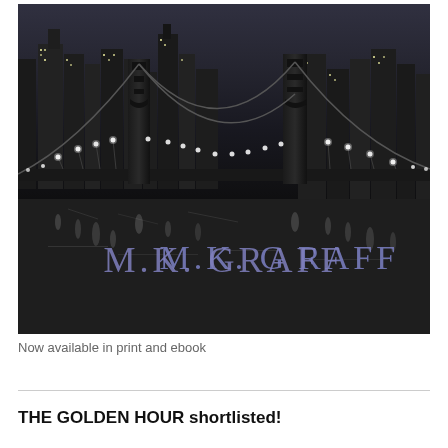[Figure (photo): Black and white photograph of the Brooklyn Bridge at night with New York City skyline in the background reflected in water, with 'M.K. GRAFF' text overlaid in blue/purple serif font]
Now available in print and ebook
THE GOLDEN HOUR shortlisted!